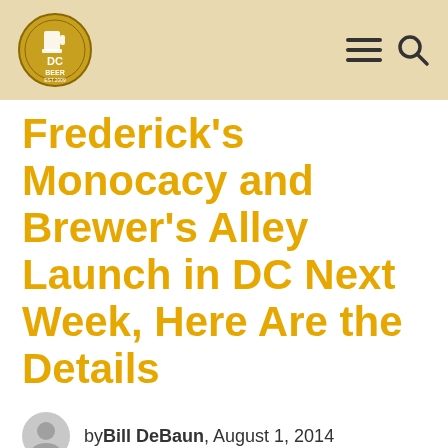DC Beer logo, navigation menu icon, search icon
Frederick's Monocacy and Brewer's Alley Launch in DC Next Week, Here Are the Details
by Bill DeBaun, August 1, 2014
[Figure (logo): Monocacy Brewing bridge logo in dark gray]